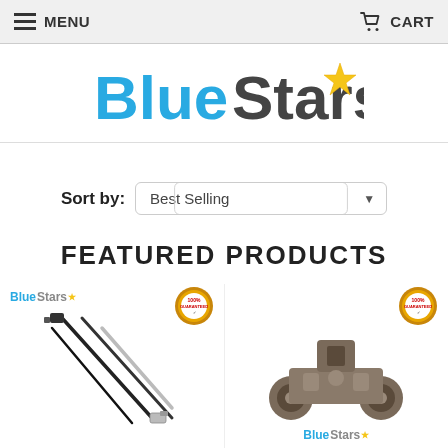MENU   CART
[Figure (logo): BlueStars logo with blue text and gold star]
Sort by: Best Selling
FEATURED PRODUCTS
[Figure (photo): BlueStars cable tie replacement rods/agitator dogs product with 100% guarantee badge and BlueStars mini logo]
[Figure (photo): Dishwasher lower rack roller/wheel part in gray/brown with 100% guarantee badge and BlueStars mini logo below]